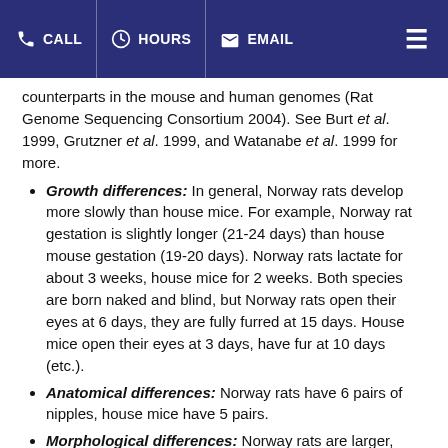CALL | HOURS | EMAIL
counterparts in the mouse and human genomes (Rat Genome Sequencing Consortium 2004). See Burt et al. 1999, Grutzner et al. 1999, and Watanabe et al. 1999 for more.
Growth differences: In general, Norway rats develop more slowly than house mice. For example, Norway rat gestation is slightly longer (21-24 days) than house mouse gestation (19-20 days). Norway rats lactate for about 3 weeks, house mice for 2 weeks. Both species are born naked and blind, but Norway rats open their eyes at 6 days, they are fully furred at 15 days. House mice open their eyes at 3 days, have fur at 10 days (etc.).
Anatomical differences: Norway rats have 6 pairs of nipples, house mice have 5 pairs.
Morphological differences: Norway rats are larger, heavier and longer than house mice (Norway rat: 350-650 grams, 9-11 inch bodies and 7-9 inch tails; house mice: 30-90 grams, 3-4 inch bodies and 3-4 inch tails). Correlated with this larger size, Norway rat body parts are larger than those of the house mouse -- rats have larger ears, feet, etc. The heads of Norway rats are heavy, blunt and chunky: